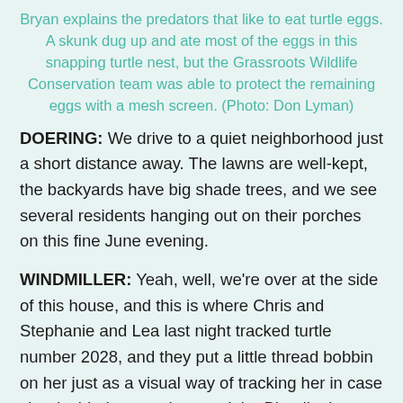Bryan explains the predators that like to eat turtle eggs. A skunk dug up and ate most of the eggs in this snapping turtle nest, but the Grassroots Wildlife Conservation team was able to protect the remaining eggs with a mesh screen. (Photo: Don Lyman)
DOERING: We drive to a quiet neighborhood just a short distance away. The lawns are well-kept, the backyards have big shade trees, and we see several residents hanging out on their porches on this fine June evening.
WINDMILLER: Yeah, well, we’re over at the side of this house, and this is where Chris and Stephanie and Lea last night tracked turtle number 2028, and they put a little thread bobbin on her just as a visual way of tracking her in case she decided to nest late at night. Blanding’s turtles almost always nest as it’s getting dark, and usually they’re done by 11:00 or so, but some of them like to stay really late, and we don’t, so if people need to leave, then